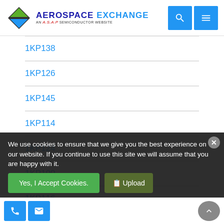AEROSPACE EXCHANGE — AN A.S.A.P SEMICONDUCTOR WEBSITE
1KP138
1KP126
1KP145
1KP114
1KP124
1KP100
1KP116
We use cookies to ensure that we give you the best experience on our website. If you continue to use this site we will assume that you are happy with it.
Yes, I Accept Cookies.  Upload